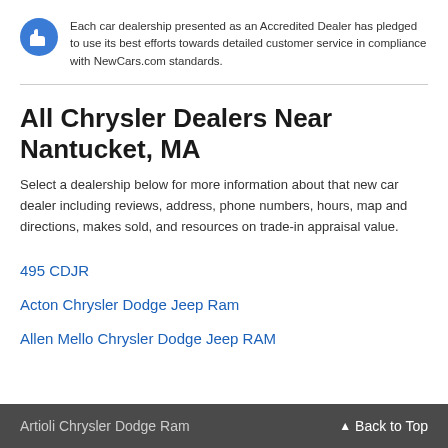Each car dealership presented as an Accredited Dealer has pledged to use its best efforts towards detailed customer service in compliance with NewCars.com standards.
All Chrysler Dealers Near Nantucket, MA
Select a dealership below for more information about that new car dealer including reviews, address, phone numbers, hours, map and directions, makes sold, and resources on trade-in appraisal value.
495 CDJR
Acton Chrysler Dodge Jeep Ram
Allen Mello Chrysler Dodge Jeep RAM
Artioli Chrysler Dodge Ram
Back to Top